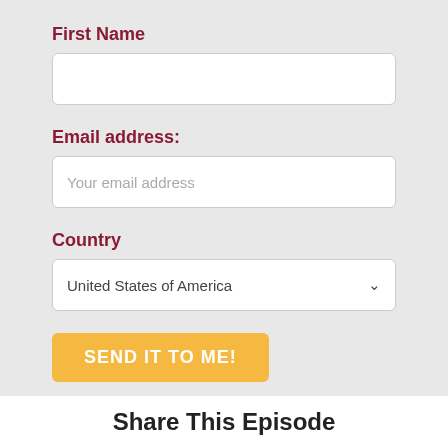First Name
[Figure (screenshot): Empty text input field for First Name]
Email address:
[Figure (screenshot): Text input field with placeholder 'Your email address']
Country
[Figure (screenshot): Dropdown select field showing 'United States of America']
[Figure (screenshot): Orange button labeled 'SEND IT TO ME!']
By signing up, you agree to our Privacy Policy.
Share This Episode